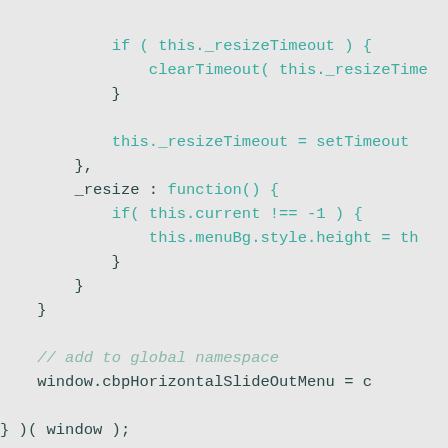if ( this._resizeTimeout ) {
    clearTimeout( this._resizeTime
}

this._resizeTimeout = setTimeout
},
_resize : function() {
    if( this.current !== -1 ) {
        this.menuBg.style.height = th
    }
}
}

// add to global namespace
window.cbpHorizontalSlideOutMenu = c

} )( window );